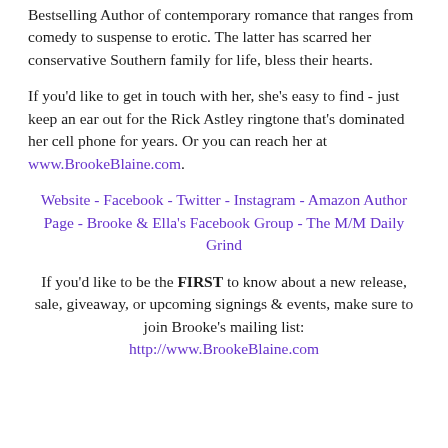Bestselling Author of contemporary romance that ranges from comedy to suspense to erotic. The latter has scarred her conservative Southern family for life, bless their hearts.
If you'd like to get in touch with her, she's easy to find - just keep an ear out for the Rick Astley ringtone that's dominated her cell phone for years. Or you can reach her at www.BrookeBlaine.com.
Website - Facebook - Twitter - Instagram - Amazon Author Page - Brooke & Ella's Facebook Group - The M/M Daily Grind
If you'd like to be the FIRST to know about a new release, sale, giveaway, or upcoming signings & events, make sure to join Brooke's mailing list: http://www.BrookeBlaine.com